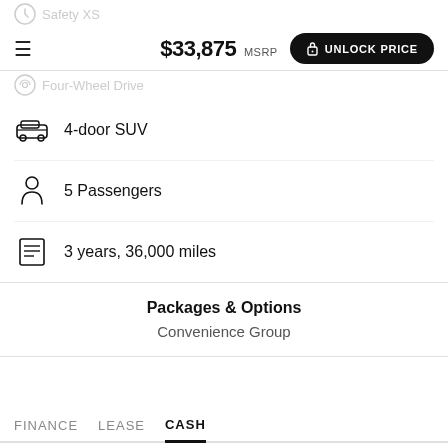$33,875 MSRP
UNLOCK PRICE
Four-Wheel Drive
4-door SUV
5 Passengers
3 years, 36,000 miles
Packages & Options
Convenience Group
FINANCE   LEASE   CASH
$33,875 MSRP
UNLOCK PR...
NEED HELP?